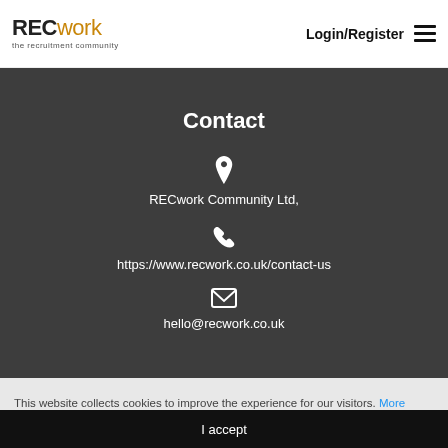RECwork the recruitment community | Login/Register
Contact
RECwork Community Ltd,
https://www.recwork.co.uk/contact-us
hello@recwork.co.uk
This website collects cookies to improve the experience for our visitors. More
I accept